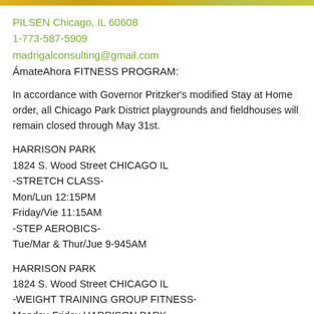PILSEN Chicago, IL 60608
1-773-587-5909
madrigalconsulting@gmail.com
ÁmateAhora FITNESS PROGRAM:
In accordance with Governor Pritzker's modified Stay at Home order, all Chicago Park District playgrounds and fieldhouses will remain closed through May 31st.
HARRISON PARK
1824 S. Wood Street CHICAGO IL
-STRETCH CLASS-
Mon/Lun 12:15PM
Friday/Vie 11:15AM
-STEP AEROBICS-
Tue/Mar & Thur/Jue 9-945AM
HARRISON PARK
1824 S. Wood Street CHICAGO IL
-WEIGHT TRAINING GROUP FITNESS-
Monday-Friday HARRISON PARK
by appointment Coach Ruben